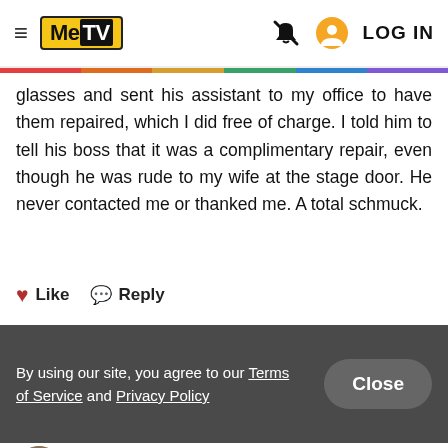MeTV — LOG IN
glasses and sent his assistant to my office to have them repaired, which I did free of charge. I told him to tell his boss that it was a complimentary repair, even though he was rude to my wife at the stage door. He never contacted me or thanked me. A total schmuck.
♥ Like  💬 Reply
By using our site, you agree to our Terms of Service and Privacy Policy  Close
DarioWiter
22 months ago
Nice to see Mr. C on the rebound after the loss of his first wife. 😊